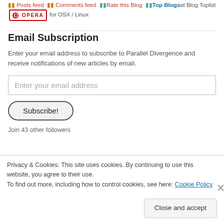Posts feed  Comments feed  Rate this Blog  Top Blogsat Blog Toplist  for OSX / Linux
Email Subscription
Enter your email address to subscribe to Parallel Divergence and receive notifications of new articles by email.
Enter your email address
Subscribe!
Join 43 other followers
Privacy & Cookies: This site uses cookies. By continuing to use this website, you agree to their use.
To find out more, including how to control cookies, see here: Cookie Policy
Close and accept